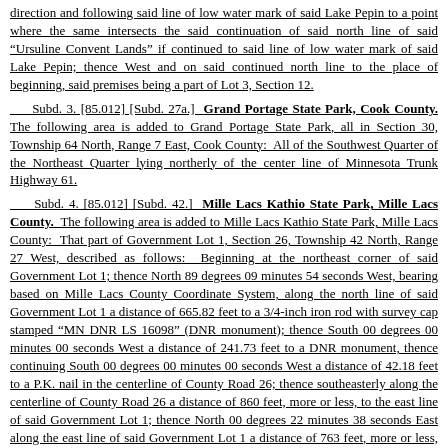direction and following said line of low water mark of said Lake Pepin to a point where the same intersects the said continuation of said north line of said "Ursuline Convent Lands" if continued to said line of low water mark of said Lake Pepin; thence West and on said continued north line to the place of beginning, said premises being a part of Lot 3, Section 12.
Subd. 3. [85.012] [Subd. 27a.] Grand Portage State Park, Cook County. The following area is added to Grand Portage State Park, all in Section 30, Township 64 North, Range 7 East, Cook County: All of the Southwest Quarter of the Northeast Quarter lying northerly of the center line of Minnesota Trunk Highway 61.
Subd. 4. [85.012] [Subd. 42.] Mille Lacs Kathio State Park, Mille Lacs County. The following area is added to Mille Lacs Kathio State Park, Mille Lacs County: That part of Government Lot 1, Section 26, Township 42 North, Range 27 West, described as follows: Beginning at the northeast corner of said Government Lot 1; thence North 89 degrees 09 minutes 54 seconds West, bearing based on Mille Lacs County Coordinate System, along the north line of said Government Lot 1 a distance of 665.82 feet to a 3/4-inch iron rod with survey cap stamped "MN DNR LS 16098" (DNR monument); thence South 00 degrees 00 minutes 00 seconds West a distance of 241.73 feet to a DNR monument, thence continuing South 00 degrees 00 minutes 00 seconds West a distance of 42.18 feet to a P.K. nail in the centerline of County Road 26; thence southeasterly along the centerline of County Road 26 a distance of 860 feet, more or less, to the east line of said Government Lot 1; thence North 00 degrees 22 minutes 38 seconds East along the east line of said Government Lot 1 a distance of 763 feet, more or less, to the point of beginning.
Subd. 5. [85.012] [Subd. 53b.] Split Rock Creek State Park, Pipestone County. The following areas are added to Split Rock Creek State Park, all in Township 105 North, Range 46 West, Pipestone County:
(1) the Northeast Quarter; the Southwest Quarter; and the Southeast Quarter, except that part beginning at a point on the east line of said Southeast Quarter,